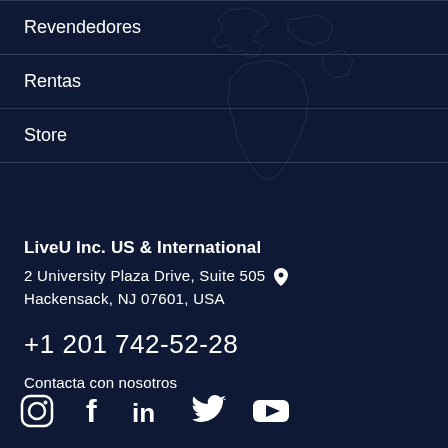Revendedores
Rentas
Store
LiveU Inc. US & International
2 University Plaza Drive, Suite 505 📍
Hackensack, NJ 07601, USA
+1 201 742-52-28
Contacta con nosotros
[Figure (infographic): Row of social media icons: Instagram, Facebook, LinkedIn, Twitter, YouTube]
[Figure (illustration): World map outline shown as faint blue line art in background]